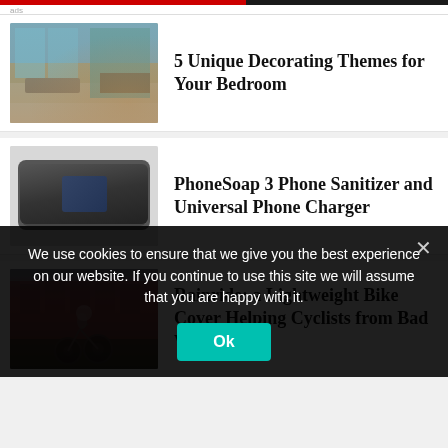[Figure (photo): Luxury bedroom interior with modern furniture, large windows, neutral tones]
5 Unique Decorating Themes for Your Bedroom
[Figure (photo): PhoneSoap 3 phone sanitizer device open showing UV light and smartphone inside]
PhoneSoap 3 Phone Sanitizer and Universal Phone Charger
[Figure (photo): Person riding a bicycle in rainy weather in front of a brick building]
Rainride: a Lightweight Bike Cover Helping Cyclists from Bad Weather
We use cookies to ensure that we give you the best experience on our website. If you continue to use this site we will assume that you are happy with it.